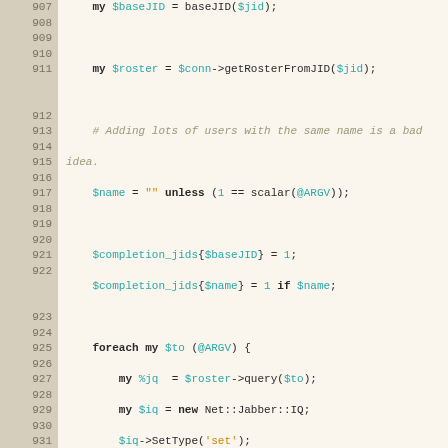[Figure (screenshot): Source code listing in Perl, lines 907-937, showing roster manipulation with JID completion, foreach loops, and group handling logic. Dark background line numbers on left, syntax-highlighted code on right.]